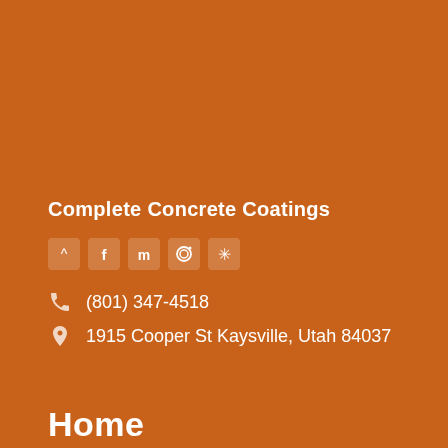Complete Concrete Coatings
[Figure (infographic): Social media icon buttons: home/website, Facebook, Meetup, Instagram, Yelp]
(801) 347-4518
1915 Cooper St Kaysville, Utah 84037
Home
About Us
Contact
Sitemap
Services